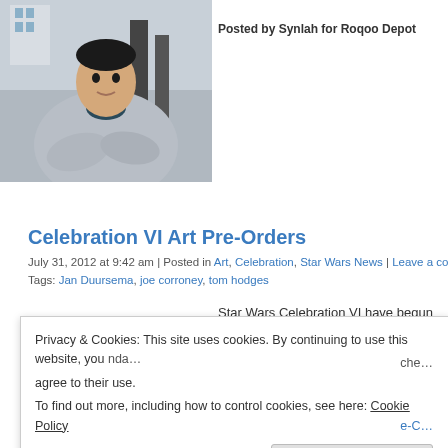[Figure (photo): Photo of a person in a grey sweatshirt with arms crossed, standing outdoors]
Posted by Synlah for Roqoo Depot
Celebration VI Art Pre-Orders
July 31, 2012 at 9:42 am | Posted in Art, Celebration, Star Wars News | Leave a comme... Tags: Jan Duursema, joe corroney, tom hodges
Star Wars Celebration VI have begun postin...
Privacy & Cookies: This site uses cookies. By continuing to use this website, you agree to their use. To find out more, including how to control cookies, see here: Cookie Policy
Close and accept